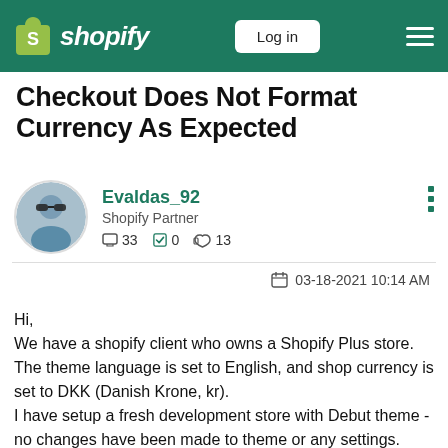Shopify — Log in
Checkout Does Not Format Currency As Expected
Evaldas_92
Shopify Partner
33  0  13
03-18-2021 10:14 AM
Hi,
We have a shopify client who owns a Shopify Plus store. The theme language is set to English, and shop currency is set to DKK (Danish Krone, kr).
I have setup a fresh development store with Debut theme - no changes have been made to theme or any settings.